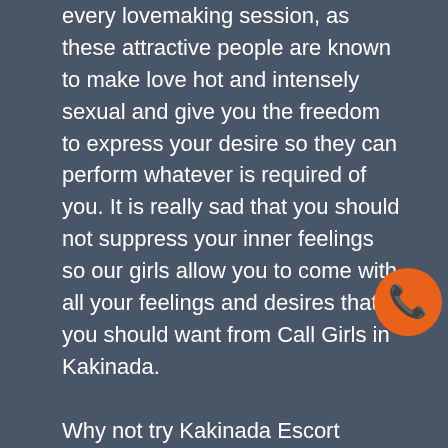every lovemaking session, as these attractive people are known to make love hot and intensely sexual and give you the freedom to express your desire so they can perform whatever is required of you. It is really sad that you should not suppress your inner feelings so our girls allow you to come with all your feelings and desires that you should want from Call Girls in Kakinada. Why not try Kakinada Escort Service which wears the best quality and belongs to the highest class so that their faces are not affected and always loves those exactly connected girls? An instant way to satisfy your nightly fantasies is to contact our escort manager where you can have the best girls at your disposal and make your night great. Book any of the girls and there are no restrictions
[Figure (illustration): Orange circle phone call icon]
[Figure (illustration): Green WhatsApp logo icon]